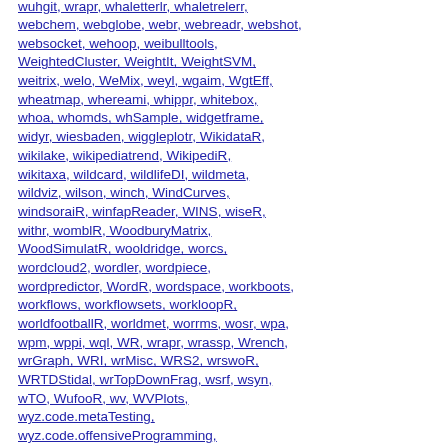webchem, webglobe, webr, webreadr, webshot, websocket, wehoop, weibulltools, WeightedCluster, WeightIt, WeightSVM, weitrix, welo, WeMix, weyl, wgaim, WgtEff, wheatmap, whereami, whippr, whitebox, whoa, whomds, whSample, widgetframe, widyr, wiesbaden, wiggleplotr, WikidataR, wikilake, wikipediatrend, WikipediR, wikitaxa, wildcard, wildlifeDI, wildmeta, wildviz, wilson, winch, WindCurves, windsoraiR, winfapReader, WINS, wiseR, withr, womblR, WoodburyMatrix, WoodSimulatR, wooldridge, worcs, wordcloud2, wordler, wordpiece, wordpredictor, WordR, wordspace, workboots, workflows, workflowsets, workloopR, worldfootballR, worldmet, worrms, wosr, wpa, wpm, wppi, wql, WR, wrapr, wrassp, Wrench, wrGraph, WRI, wrMisc, WRS2, wrswoR, WRTDStidal, wrTopDownFrag, wsrf, wsyn, wTO, WufooR, wv, WVPlots, wyz.code.metaTesting, wyz.code.offensiveProgramming, wyz.code.rdoc, wyz.code.testthat, x3ptools, xadmix, xaringanthemer, xbreed, xcms, xcore